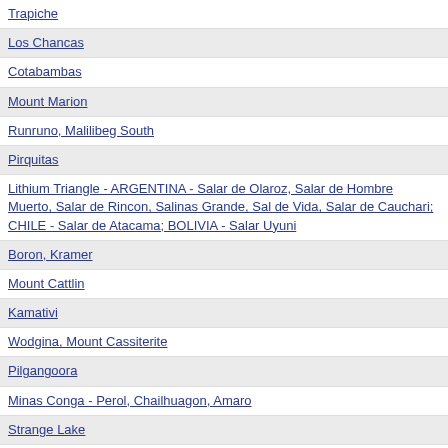Trapiche
Los Chancas
Cotabambas
Mount Marion
Runruno, Malilibeg South
Pirquitas
Lithium Triangle - ARGENTINA - Salar de Olaroz, Salar de Hombre Muerto, Salar de Rincon, Salinas Grande, Sal de Vida, Salar de Cauchari; CHILE - Salar de Atacama; BOLIVIA - Salar Uyuni
Boron, Kramer
Mount Cattlin
Kamativi
Wodgina, Mount Cassiterite
Pilgangoora
Minas Conga - Perol, Chailhuagon, Amaro
Strange Lake
Ginkgo, Snapper
Karowe, AK6
Quinchia District - La Cumbre, El Centro, Dos Quebradas, Miraflores
California-Angostura district - Angostura, La Bodega, La Mascota
Segovia, Frontino - Providencia, Sandra K, El Silencio, Las Verticales